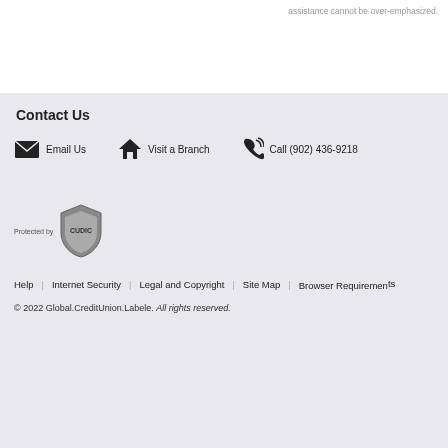assistance cannot be over-emphasized.
Contact Us
Email Us   Visit a Branch   Call (902) 436-9218
[Figure (logo): Protected by CUDIC shield logo]
Help
Internet Security
Legal and Copyright
Site Map
Browser Requirements
© 2022 Global.CreditUnion.Labele. All rights reserved.